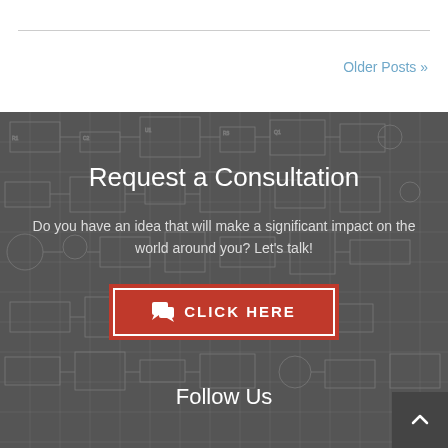Older Posts »
Request a Consultation
Do you have an idea that will make a significant impact on the world around you? Let's talk!
CLICK HERE
Follow Us